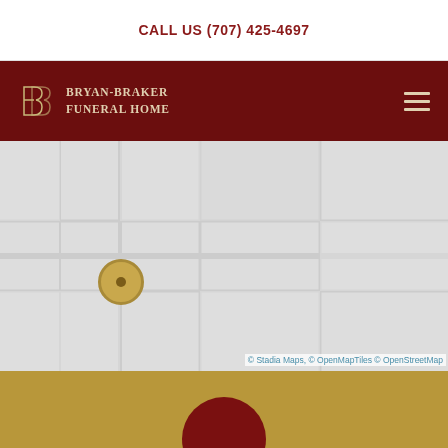CALL US (707) 425-4697
[Figure (logo): Bryan-Braker Funeral Home logo with stylized BB monogram and serif text on dark red navigation bar]
[Figure (map): Street map (Stadia Maps / OpenMapTiles / OpenStreetMap) showing a location pin marker in the Fairfield area]
© Stadia Maps, © OpenMapTiles © OpenStreetMap